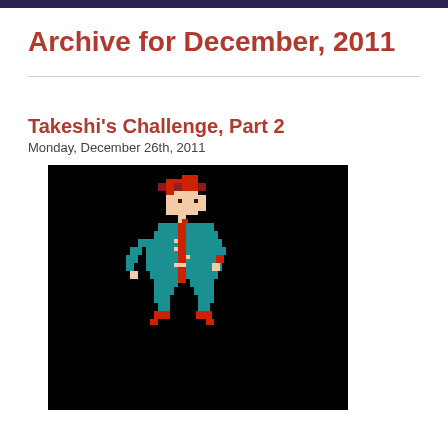Archive for December, 2011
Takeshi's Challenge, Part 2
Monday, December 26th, 2011
[Figure (screenshot): Pixel art game character from Takeshi's Challenge — a pixelated person with red hair wearing a teal/blue outfit with red accents, on a black background]